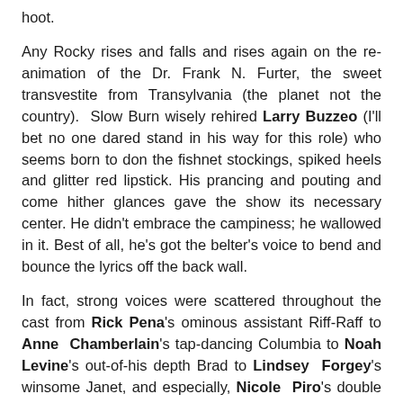hoot.
Any Rocky rises and falls and rises again on the re-animation of the Dr. Frank N. Furter, the sweet transvestite from Transylvania (the planet not the country). Slow Burn wisely rehired Larry Buzzeo (I'll bet no one dared stand in his way for this role) who seems born to don the fishnet stockings, spiked heels and glitter red lipstick. His prancing and pouting and come hither glances gave the show its necessary center. He didn't embrace the campiness; he wallowed in it. Best of all, he's got the belter's voice to bend and bounce the lyrics off the back wall.
In fact, strong voices were scattered throughout the cast from Rick Pena's ominous assistant Riff-Raff to Anne Chamberlain's tap-dancing Columbia to Noah Levine's out-of-his depth Brad to Lindsey Forgey's winsome Janet, and especially, Nicole Piro's double duty as the singing Usherette and insinuating Magenta.